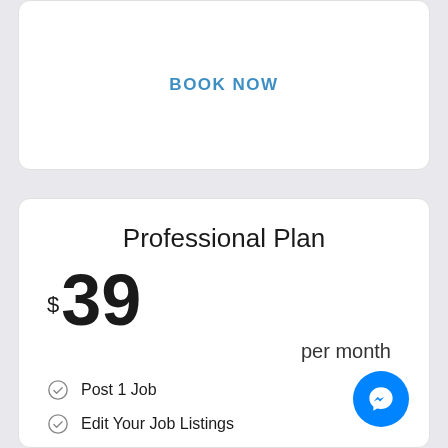BOOK NOW
Professional Plan
$39 per month
Post 1 Job
Edit Your Job Listings
[Figure (other): Messenger chat button icon]